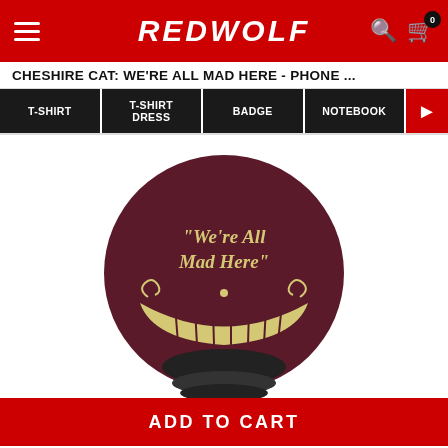REDWOLF
CHESHIRE CAT: WE'RE ALL MAD HERE - PHONE ...
T-SHIRT
T-SHIRT DRESS
BADGE
NOTEBOOK
[Figure (photo): A dark maroon/burgundy PopSocket phone grip with a Cheshire Cat design. The text reads 'We're All Mad Here' in decorative gold lettering, with a large grinning cat smile illustration in gold below. The PopSocket has a black accordion base.]
ADD TO CART